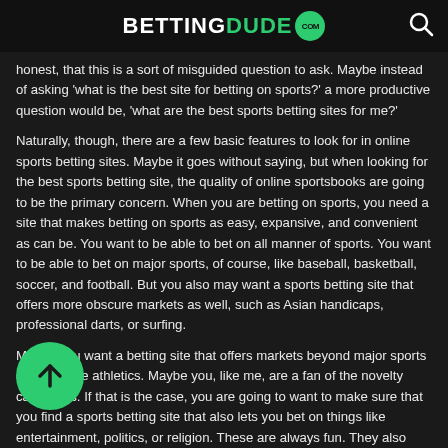BETTINGDUDE.com
honest, that this is a sort of misguided question to ask. Maybe instead of asking 'what is the best site for betting on sports?' a more productive question would be, 'what are the best sports betting sites for me?'
Naturally, though, there are a few basic features to look for in online sports betting sites. Maybe it goes without saying, but when looking for the best sports betting site, the quality of online sportsbooks are going to be the primary concern. When you are betting on sports, you need a site that makes betting on sports as easy, expansive, and convenient as can be. You want to be able to bet on all manner of sports. You want to be able to bet on major sports, of course, like baseball, basketball, soccer, and football. But you also may want a sports betting site that offers more obscure markets as well, such as Asian handicaps, professional darts, or surfing.
Maybe you want a betting site that offers markets beyond major sports and obscure athletics. Maybe you, like me, are a fan of the novelty categories. If that is the case, you are going to want to make sure that you find a sports betting site that also lets you bet on things like entertainment, politics, or religion. These are always fun. They also offer a great way to mix things up and keep your betting mind sharp. Plus, let's face it, our favorite sports to bet on simply just are not in season all year round. In the